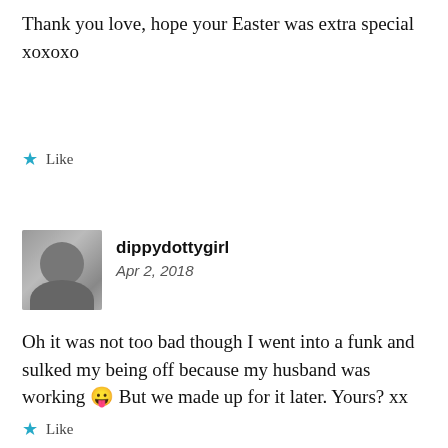Thank you love, hope your Easter was extra special xoxoxo
★ Like
[Figure (photo): Black and white profile photo of a young girl wearing a hat]
dippydottygirl
Apr 2, 2018
Oh it was not too bad though I went into a funk and sulked my being off because my husband was working 😛 But we made up for it later. Yours? xx
★ Like